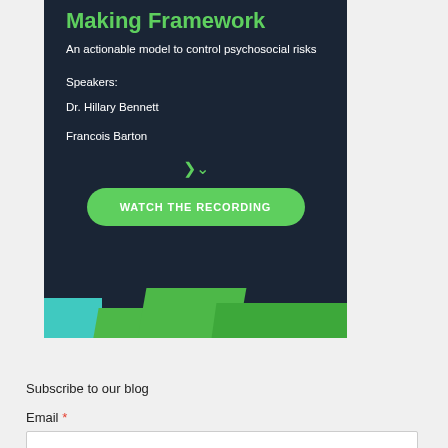Making Framework
An actionable model to control psychosocial risks
Speakers:
Dr. Hillary Bennett
Francois Barton
[Figure (illustration): Green rounded button with text WATCH THE RECORDING on dark navy background with decorative teal and green shapes at bottom]
Subscribe to our blog
Email *